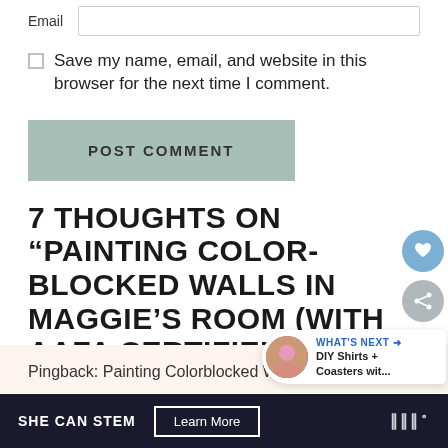Email
Save my name, email, and website in this browser for the next time I comment.
POST COMMENT
7 THOUGHTS ON “PAINTING COLOR-BLOCKED WALLS IN MAGGIE’S ROOM (WITH AAFA CERTIFIED PAINT!)”
Pingback: Painting Colorblocked Walls With
SHE CAN STEM   Learn More